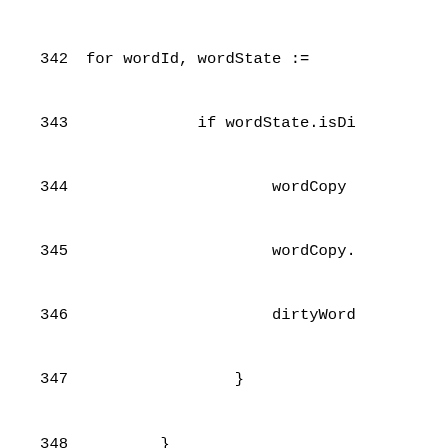342   for wordId, wordState :=
343               if wordState.isDi
344                       wordCopy
345                       wordCopy.
346                       dirtyWord
347                   }
348           }
349       self.is.True(len(dirtyWor
350
351       sort.Slice(dirtyWords, fu
352               wordI, wordJ := d
353               return wordJ.Word
354       })
355       self.rng.Shuffle(len(dirt
356       message := &protocol.Mess
357               Updates: &dirtyWo
358       }
359       self.is.True(self.documen
360
361       generation := &self.gener
362       self.unsentGeneration = s
363       self.previous.next = gene
364       self.sentGenerations = se